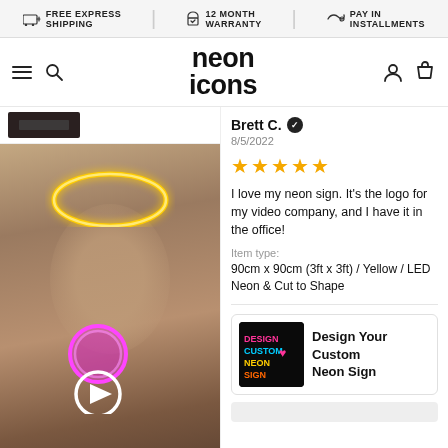FREE EXPRESS SHIPPING | 12 MONTH WARRANTY | PAY IN INSTALLMENTS
[Figure (logo): Neon Icons logo with hamburger menu and search icon on the left, user and cart icons on the right]
[Figure (photo): Product photo showing an illuminated neon sign of an angel halo in yellow/orange on a mannequin head with pink neon circles below, with a video play button overlay]
Brett C. ✔
8/5/2022
★★★★★
I love my neon sign. It's the logo for my video company, and I have it in the office!
Item type:
90cm x 90cm (3ft x 3ft) / Yellow / LED Neon & Cut to Shape
[Figure (photo): Small thumbnail of a custom neon sign design showing colorful text: Design Custom Neon Sign]
Design Your Custom Neon Sign